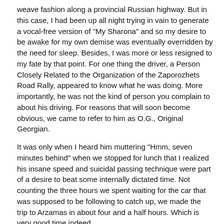weave fashion along a provincial Russian highway. But in this case, I had been up all night trying in vain to generate a vocal-free version of "My Sharona" and so my desire to be awake for my own demise was eventually overridden by the need for sleep. Besides, I was more or less resigned to my fate by that point. For one thing the driver, a Person Closely Related to the Organization of the Zaporozhets Road Rally, appeared to know what he was doing. More importantly, he was not the kind of person you complain to about his driving. For reasons that will soon become obvious, we came to refer to him as O.G., Original Georgian.
It was only when I heard him muttering "Hmm, seven minutes behind" when we stopped for lunch that I realized his insane speed and suicidal passing technique were part of a desire to beat some internally dictated time. Not counting the three hours we spent waiting for the car that was supposed to be following to catch up, we made the trip to Arzamas in about four and a half hours. Which is very good time indeed.
Even more impressive than this, however, was the fact that Original Georgian was stopped just three times by the highway patrol in all their variously acronymed incarnations. The first violation was a simple speeding offense that resulted in a 200 ruble "fine." The second stop actually led the officer to say "Nelzya pugat sotrudnikov militsii!" (see "Zap Rally Quotes," page 3), although the "fine" in this case was a mere 100 rubles. Taibbi had told me that O.G. keeps a loaded Magnum in his office desk. It was during this stop that we noticed the gun sitting in plain view in the driver-side door pocket. So I guess the cops were right to be frightened.